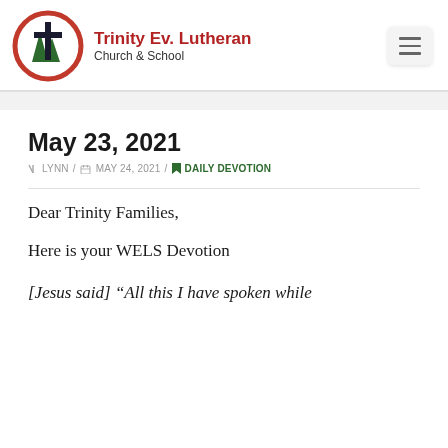Trinity Ev. Lutheran Church & School
May 23, 2021
LYNN / MAY 24, 2021 / DAILY DEVOTION
Dear Trinity Families,
Here is your WELS Devotion
[Jesus said] “All this I have spoken while